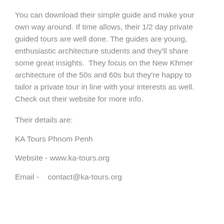You can download their simple guide and make your own way around. If time allows, their 1/2 day private guided tours are well done. The guides are young, enthusiastic architecture students and they'll share some great insights.  They focus on the New Khmer architecture of the 50s and 60s but they're happy to tailor a private tour in line with your interests as well. Check out their website for more info.
Their details are:
KA Tours Phnom Penh
Website - www.ka-tours.org
Email -   contact@ka-tours.org